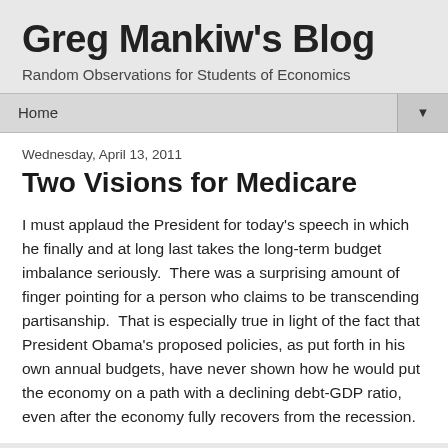Greg Mankiw's Blog
Random Observations for Students of Economics
Home
Wednesday, April 13, 2011
Two Visions for Medicare
I must applaud the President for today's speech in which he finally and at long last takes the long-term budget imbalance seriously.  There was a surprising amount of finger pointing for a person who claims to be transcending partisanship.  That is especially true in light of the fact that President Obama's proposed policies, as put forth in his own annual budgets, have never shown how he would put the economy on a path with a declining debt-GDP ratio, even after the economy fully recovers from the recession.